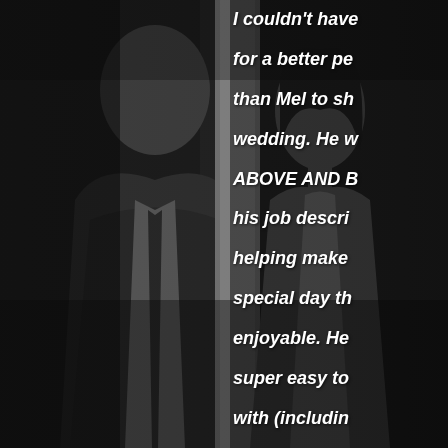[Figure (photo): Black and white photograph of a couple in formal attire, facing each other closely as if about to kiss. The man on the left wears a suit and dark tie; the woman on the right wears a white dress. The background is dark and moody.]
I couldn't have for a better pe than Mel to sh wedding. He w ABOVE AND B his job descri helping make special day th enjoyable. He super easy to with (includin my vendors e